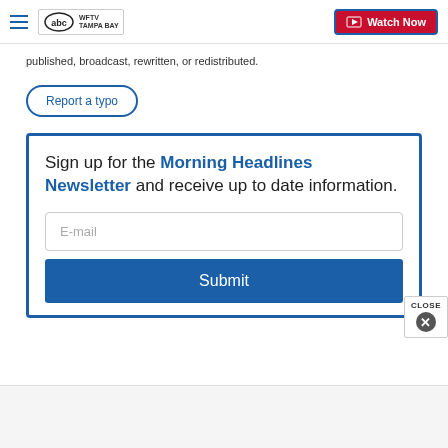WFTV Tampa Bay — Watch Now
published, broadcast, rewritten, or redistributed.
Report a typo
Sign up for the Morning Headlines Newsletter and receive up to date information.
E-mail
Submit
CLOSE